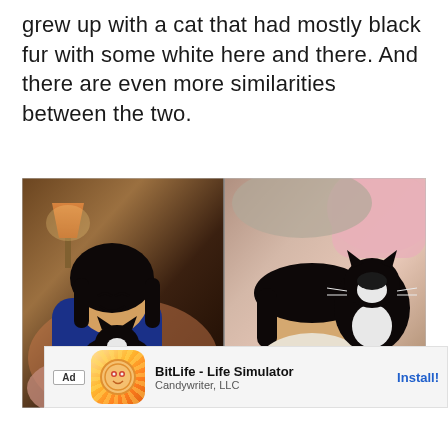grew up with a cat that had mostly black fur with some white here and there. And there are even more similarities between the two.
[Figure (photo): Two side-by-side photos: left shows a young Asian girl smiling and holding a black-and-white cat in a living room with a lamp; right shows the same girl lying down hugging the same black-and-white tuxedo cat on a pink blanket.]
Ad  BitLife - Life Simulator  Candywriter, LLC  Install!